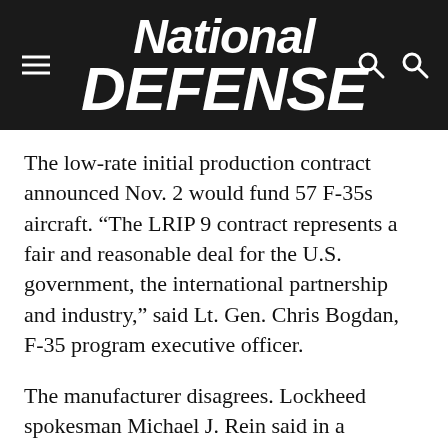National Defense
The low-rate initial production contract announced Nov. 2 would fund 57 F-35s aircraft. “The LRIP 9 contract represents a fair and reasonable deal for the U.S. government, the international partnership and industry,” said Lt. Gen. Chris Bogdan, F-35 program executive officer.
The manufacturer disagrees. Lockheed spokesman Michael J. Rein said in a statement that company was “disappointed with the decision by the government to issue a unilateral contract action.”
Officials declined to comment further as the